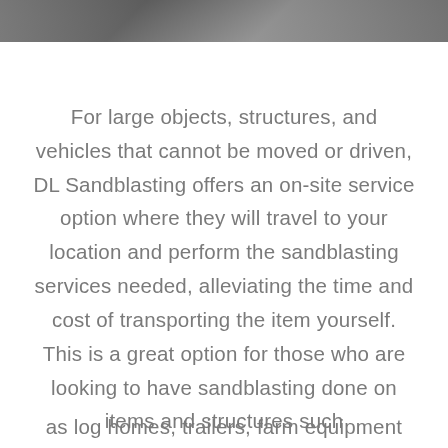[Figure (photo): Dark grey strip of a background photo at the top of the page, partially visible]
For large objects, structures, and vehicles that cannot be moved or driven, DL Sandblasting offers an on-site service option where they will travel to your location and perform the sandblasting services needed, alleviating the time and cost of transporting the item yourself. This is a great option for those who are looking to have sandblasting done on items and structures such
as log homes, trailers, farm equipment and